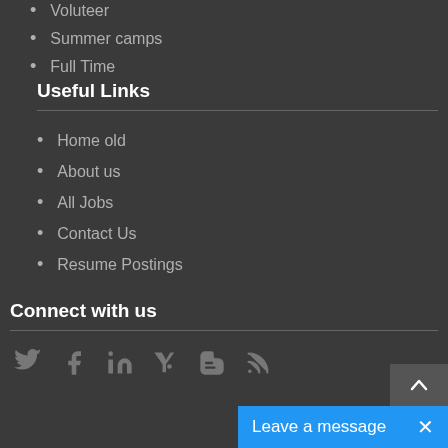Voluteer
Summer camps
Full Time
Useful Links
Home old
About us
All Jobs
Contact Us
Resume Postings
Connect with us
[Figure (infographic): Social media icons: Twitter, Facebook, LinkedIn, Yahoo, Blogger, RSS feed]
Leave a message ×